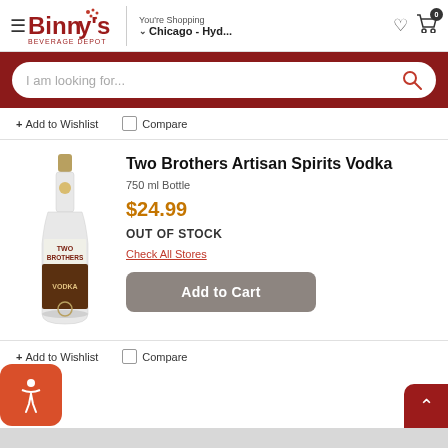Binny's Beverage Depot — You're Shopping Chicago - Hyd...
I am looking for...
+ Add to Wishlist   Compare
[Figure (photo): Product photo of Two Brothers Artisan Spirits Vodka 750ml bottle, clear glass with gold top and dark label]
Two Brothers Artisan Spirits Vodka
750 ml Bottle
$24.99
OUT OF STOCK
Check All Stores
Add to Cart
+ Add to Wishlist   Compare